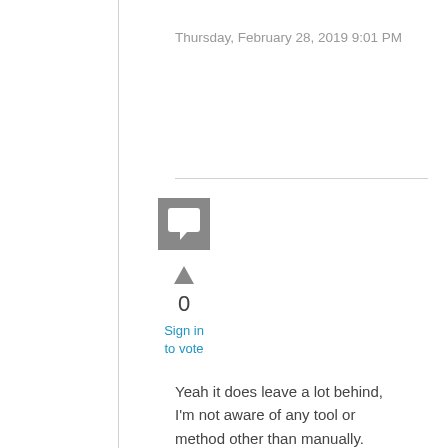Thursday, February 28, 2019 9:01 PM
[Figure (illustration): Gray square avatar icon with white speech bubble/comment symbol]
0
Sign in to vote
Yeah it does leave a lot behind, I'm not aware of any tool or method other than manually.
Below you will find a list of ALL the components that gets